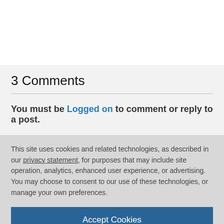3 Comments
You must be Logged on to comment or reply to a post.
This site uses cookies and related technologies, as described in our privacy statement, for purposes that may include site operation, analytics, enhanced user experience, or advertising. You may choose to consent to our use of these technologies, or manage your own preferences.
Accept Cookies
More Information
Privacy Policy | Powered by: TrustArc
Well, actually it was the other way round... the project name Neo